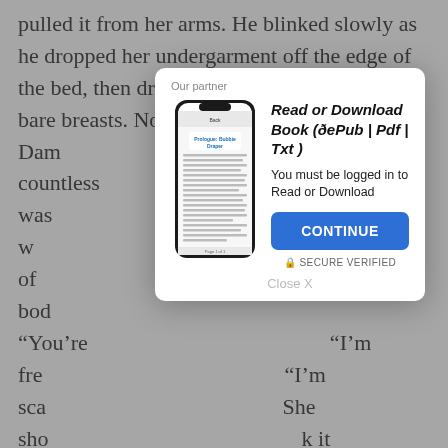pulled it from her arms. He blinked slowly as he dropped her undergarment off the edge of the bed, then dragged his gaze back to her bare breasts. Now the insecurity set in. Dam [modal overlay] th countless [modal overlay] while she was [modal overlay] ged to sleep w [modal overlay] s. And none of [modal overlay] ok at her bod [modal overlay]
“You’re [modal overlay]
“I’m fre [modal overlay]
“I’m sca [modal overlay]
She sho [modal overlay] k it makes [modal overlay]
Damon [modal overlay] arlobe, then whispered, “I like your spots.” Easing back, he traced a constellation of them over the tip of her shoulder.
[Figure (screenshot): Modal dialog box overlaying background text. Header says 'Our partner'. Contains a phone mockup showing an ebook app. Title: 'Read or Download Book (ÐePub | Pdf | Txt )'. Description: 'You must be logged in to Read or Download'. Blue CONTINUE button. 'SECURE VERIFIED' text with lock icon. 'Close X' link at bottom.]